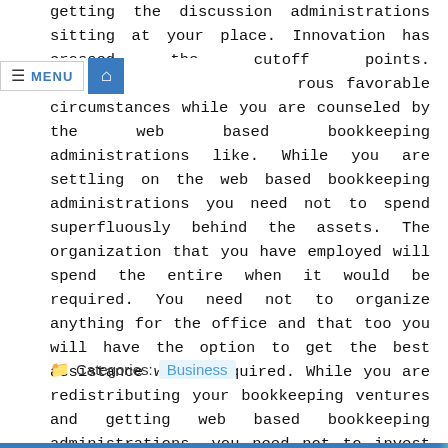getting the discussion administrations sitting at your place. Innovation has crossed the cutoff points. T rous favorable circumstances while you are counseled by the web based bookkeeping administrations like. While you are settling on the web based bookkeeping administrations you need not to spend superfluously behind the assets. The organization that you have employed will spend the entire when it would be required. You need not to organize anything for the office and that too you will have the option to get the best assistance while required. While you are redistributing your bookkeeping ventures and getting web based bookkeeping administrations, you need not to invest your valuable energy behind this significant part.
Categories: Business